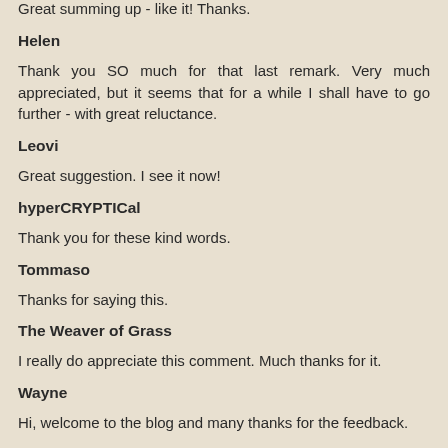Great summing up - like it! Thanks.
Helen
Thank you SO much for that last remark. Very much appreciated, but it seems that for a while I shall have to go further - with great reluctance.
Leovi
Great suggestion. I see it now!
hyperCRYPTICal
Thank you for these kind words.
Tommaso
Thanks for saying this.
The Weaver of Grass
I really do appreciate this comment. Much thanks for it.
Wayne
Hi, welcome to the blog and many thanks for the feedback.
cloudia